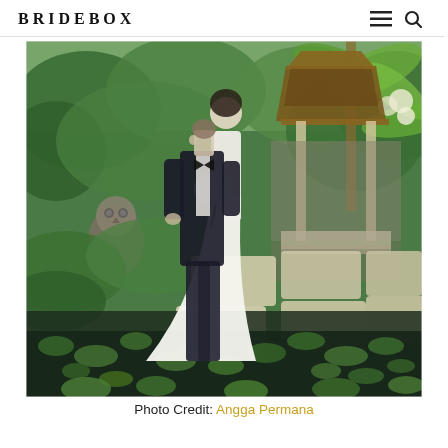BRIDEBOX
[Figure (photo): A couple kissing in a lush tropical garden setting with lily pads, stepping stones over a pond, and a Balinese-style gazebo. The groom is wearing a dark suit with bow tie and the bride is in a white gown holding a bouquet.]
Photo Credit: Angga Permana